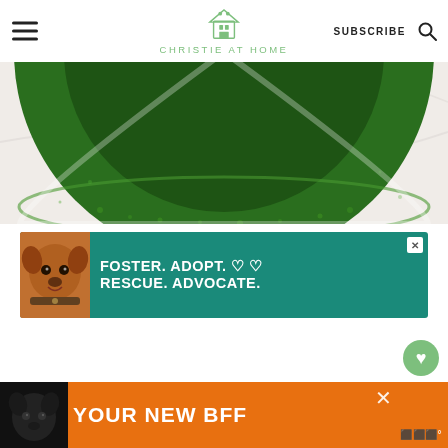CHRISTIE AT HOME — SUBSCRIBE
[Figure (photo): Top-down view of a matcha green tea drink in a white cup, showing deep green color with foam bubbles around the edge]
[Figure (infographic): Teal/dark green advertisement banner with a brown pitbull dog on the left, white bold text reading FOSTER. ADOPT. RESCUE. ADVOCATE. with heart symbols, and a close X button]
[Figure (infographic): Orange advertisement banner at the bottom with a black dog silhouette on the left and bold white text reading YOUR NEW BFF]